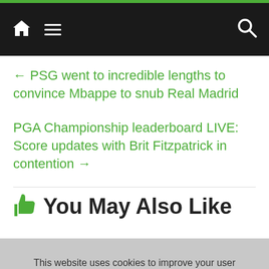Navigation bar with home icon, menu icon, and search icon
← PSG went to incredible lengths to convince Mbappe to snub Real Madrid
PGA Championship leaderboard LIVE: Score updates with Brit Fitzpatrick in contention →
👍 You May Also Like
This website uses cookies to improve your user experience and to provide you with advertisements that are relevant to your interests. By continuing to browse the site you are agreeing to our use of cookies.
Ok